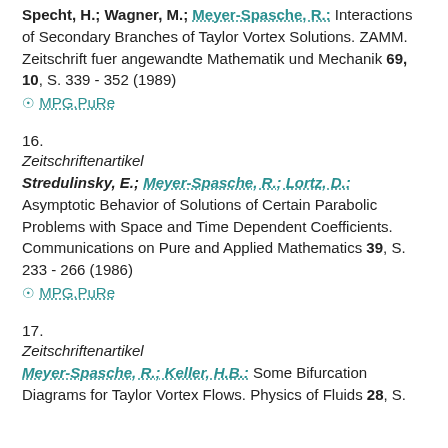Specht, H.; Wagner, M.; Meyer-Spasche, R.: Interactions of Secondary Branches of Taylor Vortex Solutions. ZAMM. Zeitschrift fuer angewandte Mathematik und Mechanik 69, 10, S. 339 - 352 (1989)
⊙ MPG.PuRe
16.
Zeitschriftenartikel
Stredulinsky, E.; Meyer-Spasche, R.; Lortz, D.: Asymptotic Behavior of Solutions of Certain Parabolic Problems with Space and Time Dependent Coefficients. Communications on Pure and Applied Mathematics 39, S. 233 - 266 (1986)
⊙ MPG.PuRe
17.
Zeitschriftenartikel
Meyer-Spasche, R.; Keller, H.B.: Some Bifurcation Diagrams for Taylor Vortex Flows. Physics of Fluids 28, S.